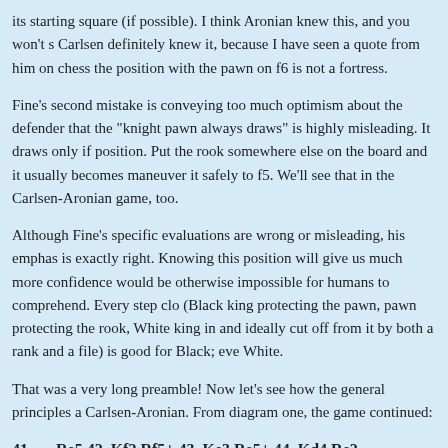its starting square (if possible). I think Aronian knew this, and you won't s Carlsen definitely knew it, because I have seen a quote from him on chess the position with the pawn on f6 is not a fortress.
Fine's second mistake is conveying too much optimism about the defender that the "knight pawn always draws" is highly misleading. It draws only if position. Put the rook somewhere else on the board and it usually becomes maneuver it safely to f5. We'll see that in the Carlsen-Aronian game, too.
Although Fine's specific evaluations are wrong or misleading, his emphas is exactly right. Knowing this position will give us much more confidence would be otherwise impossible for humans to comprehend. Every step clo (Black king protecting the pawn, pawn protecting the rook, White king in and ideally cut off from it by both a rank and a file) is good for Black; eve White.
That was a very long preamble! Now let's see how the general principles a Carlsen-Aronian. From diagram one, the game continued:
41. … Re5 42. Kf2 Rf5+ 43. Ke3 Re5+ 44. Kd4 Re2